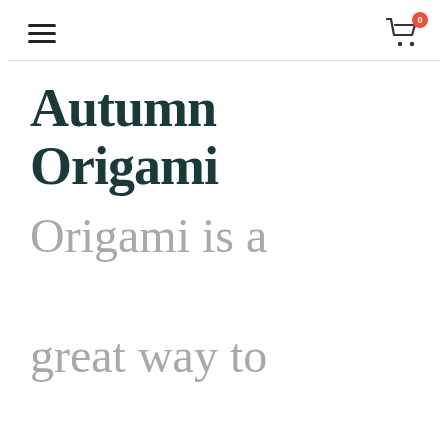☰  🛒 0
Autumn Origami
Origami is a great way to introduce analytical